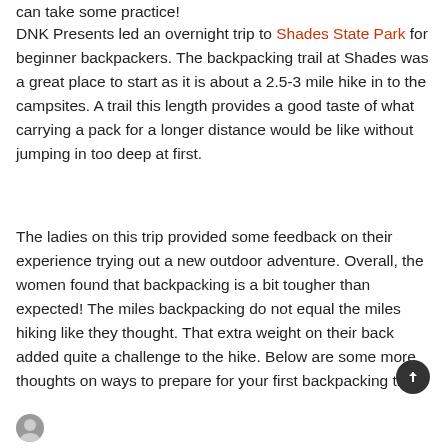can take some practice!
DNK Presents led an overnight trip to Shades State Park for beginner backpackers. The backpacking trail at Shades was a great place to start as it is about a 2.5-3 mile hike in to the campsites. A trail this length provides a good taste of what carrying a pack for a longer distance would be like without jumping in too deep at first.
The ladies on this trip provided some feedback on their experience trying out a new outdoor adventure. Overall, the women found that backpacking is a bit tougher than expected! The miles backpacking do not equal the miles hiking like they thought. That extra weight on their back added quite a challenge to the hike. Below are some more thoughts on ways to prepare for your first backpacking trip!